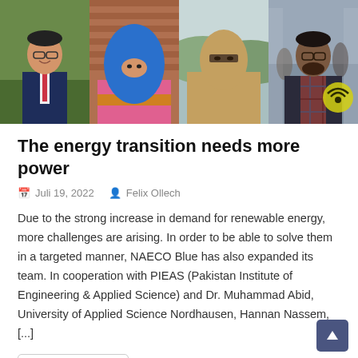[Figure (photo): A horizontal strip of four portrait-style photos: a man in a suit, a woman in a blue hijab and colorful pink/orange shawl, a woman in a tan niqab, and a man in a plaid jacket. A yellow wifi/signal icon is overlaid on the fourth photo.]
The energy transition needs more power
Juli 19, 2022   Felix Ollech
Due to the strong increase in demand for renewable energy, more challenges are arising. In order to be able to solve them in a targeted manner, NAECO Blue has also expanded its team. In cooperation with PIEAS (Pakistan Institute of Engineering & Applied Science) and Dr. Muhammad Abid, University of Applied Science Nordhausen, Hannan Nassem, [...]
Learn more